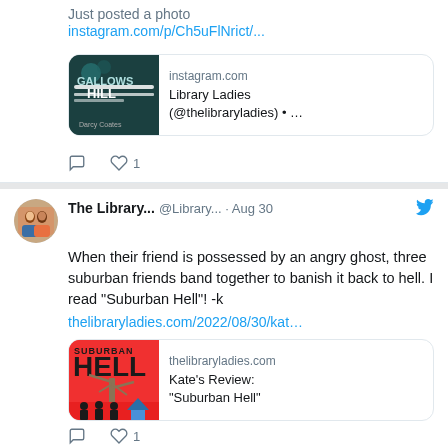Just posted a photo
instagram.com/p/Ch5uFlNrict/...
[Figure (screenshot): Link preview card showing a book cover for 'Gallows Hill' by Darcy Coates with instagram.com and 'Library Ladies (@thelibraryladies) • ...' text]
Reply icon, Heart icon with count 1
The Library... @Library... · Aug 30
When their friend is possessed by an angry ghost, three suburban friends band together to banish it back to hell. I read "Suburban Hell"! -k
thelibraryladies.com/2022/08/30/kat...
[Figure (screenshot): Link preview card showing 'Suburban Hell' book cover (red background with tree) and thelibraryladies.com with 'Kate's Review: "Suburban Hell"']
Reply icon, Heart icon with count 1